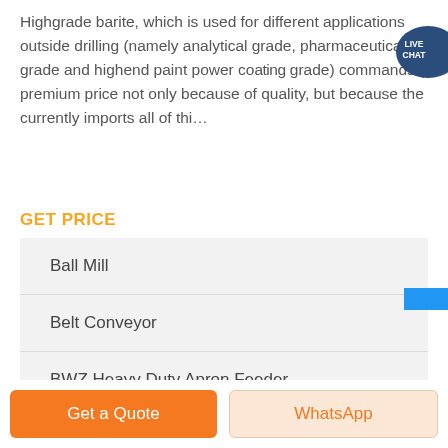Highgrade barite, which is used for different applications outside drilling (namely analytical grade, pharmaceutical grade and highend paint power coating grade) commands a premium price not only because of quality, but because the currently imports all of thi…
GET PRICE
Ball Mill
Belt Conveyor
BWZ Heavy Duty Apron Feeder
Get a Quote
WhatsApp